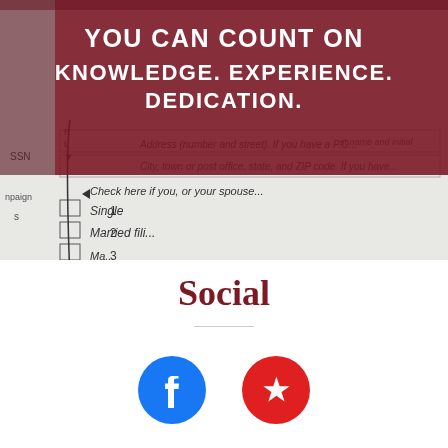[Figure (photo): Tax form documents visible in background with dark maroon overlay containing white text]
KNOWLEDGE. EXPERIENCE. DEDICATION.
Social
[Figure (other): Facebook logo icon (blue circle with white F) and Yelp logo icon (red circle with white burst/star)]